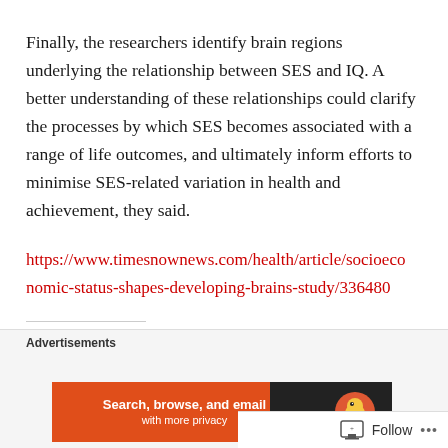Finally, the researchers identify brain regions underlying the relationship between SES and IQ. A better understanding of these relationships could clarify the processes by which SES becomes associated with a range of life outcomes, and ultimately inform efforts to minimise SES-related variation in health and achievement, they said.
https://www.timesnownews.com/health/article/socioeconomic-status-shapes-developing-brains-study/336480
[Figure (other): Advertisement banner for DuckDuckGo: 'Search, browse, and email with more privacy']